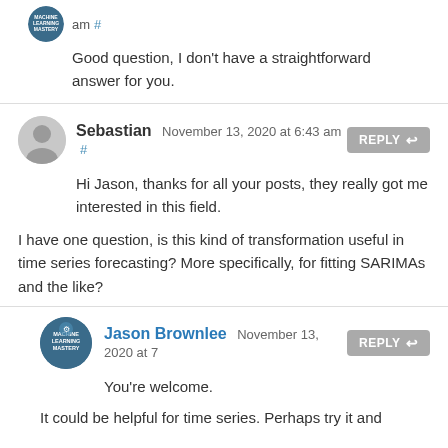am #
Good question, I don't have a straightforward answer for you.
Sebastian November 13, 2020 at 6:43 am #
Hi Jason, thanks for all your posts, they really got me interested in this field.

I have one question, is this kind of transformation useful in time series forecasting? More specifically, for fitting SARIMAs and the like?
Jason Brownlee November 13, 2020 at 7...
You're welcome.

It could be helpful for time series. Perhaps try it and